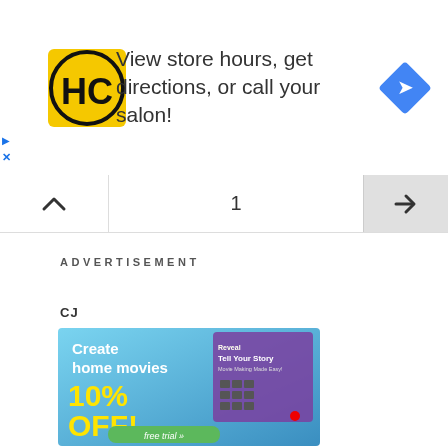[Figure (screenshot): HC salon logo (yellow square with HC letters) and text: 'View store hours, get directions, or call your salon!' with a blue navigation diamond icon on the right]
[Figure (screenshot): Pagination bar with up-arrow chevron on left, number 1 in center, right arrow on grey button on right]
ADVERTISEMENT
CJ
[Figure (screenshot): Advertisement banner for home movie software: 'Create home movies 10% OFF! free trial »' with a product box image (Reveal Tell Your Story) on blue gradient background]